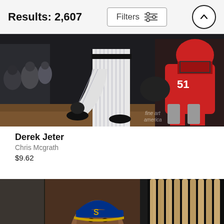Results: 2,607
Filters
[Figure (photo): Baseball game photo showing Derek Jeter batting in pinstripe Yankees uniform with a catcher in red gear (#51) crouching behind home plate, dugout with players in background. Fine Art America watermark visible.]
Derek Jeter
Chris Mcgrath
$9.62
[Figure (photo): Portrait of a young baseball player wearing a Seattle Mariners cap with gold brim, looking at camera, with baseball bats arranged vertically in the background.]